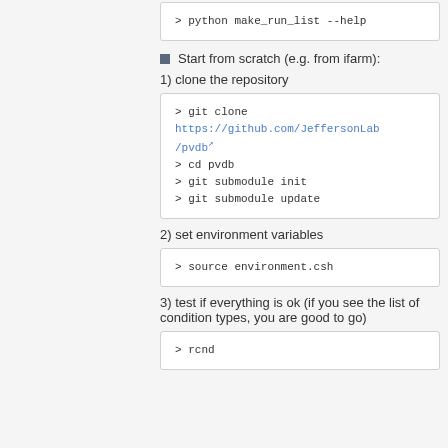> python make_run_list --help
Start from scratch (e.g. from ifarm):
1) clone the repository
> git clone https://github.com/JeffersonLab/pvdb
> cd pvdb
> git submodule init
> git submodule update
2) set environment variables
> source environment.csh
3) test if everything is ok (if you see the list of condition types, you are good to go)
> rcnd